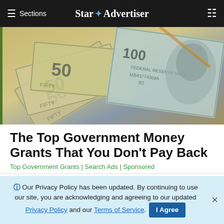≡ Sections  Star ✦ Advertiser
[Figure (photo): Close-up photograph of US currency bills, showing $50 and $100 bills fanned out]
The Top Government Money Grants That You Don't Pay Back
Top Government Grants | Search Ads | Sponsored
[Figure (photo): Partial view of a second article with dark object visible]
ℹ Our Privacy Policy has been updated. By continuing to use our site, you are acknowledging and agreeing to our updated Privacy Policy and our Terms of Service. I Agree